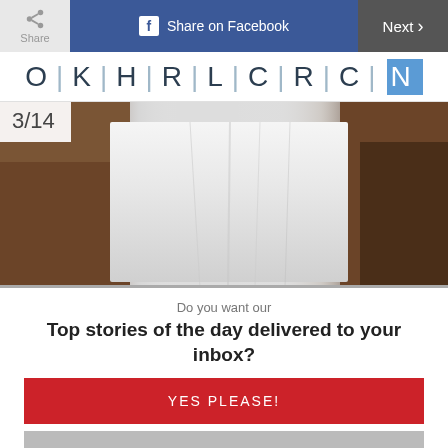Share | Share on Facebook | Next
[Figure (logo): OKHRLCRCN logo with vertical separators and blue highlighted last letter block]
[Figure (photo): Close-up photo of hands holding/spreading white fabric or newspaper, page counter 3/14 overlay]
Do you want our
Top stories of the day delivered to your inbox?
YES PLEASE!
NO THANKS